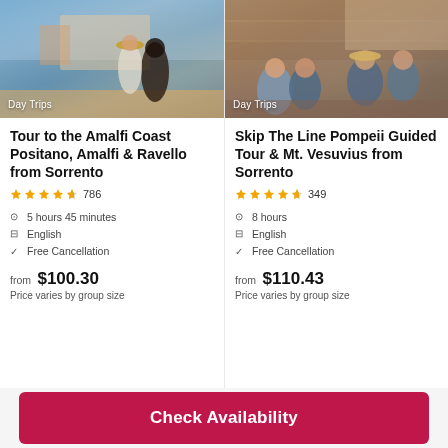[Figure (photo): Coastal beach scene at Amalfi Coast with people and buildings on hillside, labeled Day Trips]
Day Trips
Tour to the Amalfi Coast Positano, Amalfi & Ravello from Sorrento
★★★★½ 786
5 hours 45 minutes
English
Free Cancellation
from $100.30
Price varies by group size
[Figure (photo): Group of tourists sitting on stone steps, labeled Day Trips]
Day Trips
Skip The Line Pompeii Guided Tour & Mt. Vesuvius from Sorrento
★★★★½ 349
8 hours
English
Free Cancellation
from $110.43
Price varies by group size
Check Availability